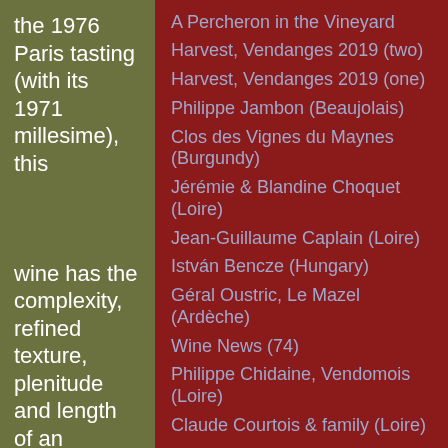the 1976 Paris tasting (with its 1971 millesime), this wine has the complexity, refined texture, plenitude and length of an exceptional wine. New aromas keep coming minutes after minutes. Santa Cruz
A Percheron in the Vineyard
Harvest, Vendanges 2019 (two)
Harvest, Vendanges 2019 (one)
Philippe Jambon (Beaujolais)
Clos des Vignes du Maynes (Burgundy)
Jérémie & Blandine Choquet (Loire)
Jean-Guillaume Caplain (Loire)
István Bencze (Hungary)
Géral Oustric, Le Mazel (Ardèche)
Wine News (74)
Philippe Chidaine, Vendomois (Loire)
Claude Courtois & family (Loire)